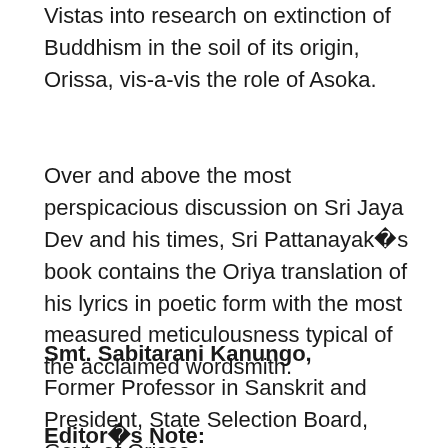Vistas into research on extinction of Buddhism in the soil of its origin, Orissa, vis-a-vis the role of Asoka.
Over and above the most perspicacious discussion on Sri Jaya Dev and his times, Sri Pattanayak�s book contains the Oriya translation of his lyrics in poetic form with the most measured meticulousness typical of the acclaimed wordsmith.
Smt. Sabitarani Kanungo,
Former Professor in Sanskrit and President, State Selection Board, Govt. of Orissa.
Editor�s Note: